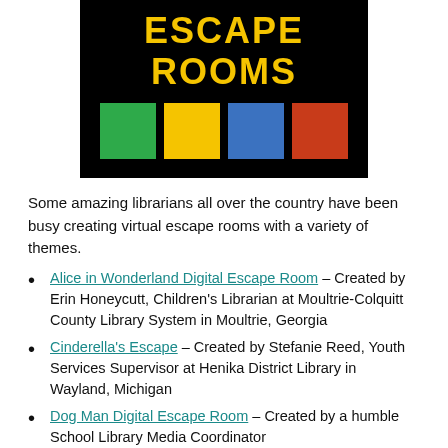[Figure (illustration): Black banner with bold yellow text reading 'ESCAPE ROOMS' and four colored squares below (green, yellow, blue, red)]
Some amazing librarians all over the country have been busy creating virtual escape rooms with a variety of themes.
Alice in Wonderland Digital Escape Room – Created by Erin Honeycutt, Children's Librarian at Moultrie-Colquitt County Library System in Moultrie, Georgia
Cinderella's Escape – Created by Stefanie Reed, Youth Services Supervisor at Henika District Library in Wayland, Michigan
Dog Man Digital Escape Room – Created by a humble School Library Media Coordinator